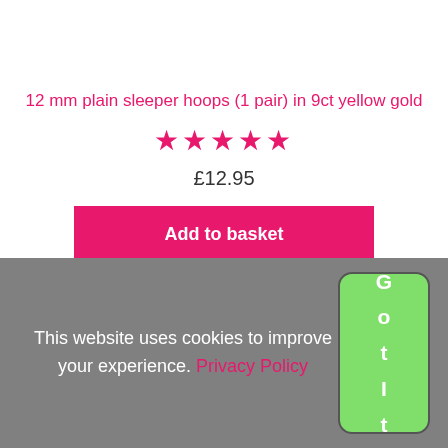12 mm plain sleeper hoops (1 pair) in 9ct yellow gold
★★★★★
£12.95
Add to basket
This website uses cookies to improve your experience. Privacy Policy
G o t I t